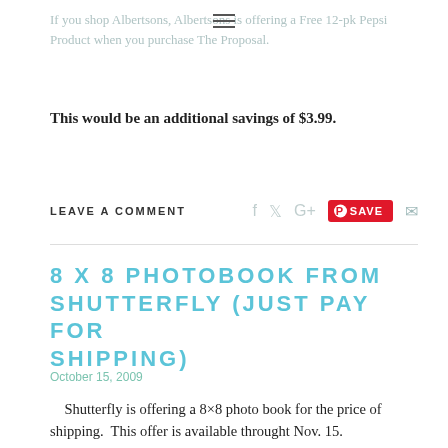If you shop Albertsons, Albertsons is offering a Free 12-pk Pepsi Product when you purchase The Proposal.
This would be an additional savings of $3.99.
LEAVE A COMMENT
8 X 8 PHOTOBOOK FROM SHUTTERFLY (JUST PAY FOR SHIPPING)
October 15, 2009
Shutterfly is offering a 8×8 photo book for the price of shipping.  This offer is available throught Nov. 15. For more information on this offer Money Saving Madness Thanks!  Only 70 more days till Christmas!  This would be a great gift...